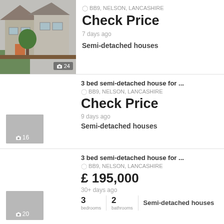[Figure (photo): Photo of a semi-detached house exterior with trees and wooden fence, photo count badge showing 24]
BB9, NELSON, LANCASHIRE
Check Price
7 days ago
Semi-detached houses
3 bed semi-detached house for ...
BB9, NELSON, LANCASHIRE
Check Price
9 days ago
[Figure (photo): Small grey photo placeholder with camera icon and count badge showing 16]
Semi-detached houses
3 bed semi-detached house for ...
BB9, NELSON, LANCASHIRE
£ 195,000
30+ days ago
[Figure (photo): Small grey photo placeholder with camera icon and count badge showing 20]
3 bedrooms
2 bathrooms
Semi-detached houses